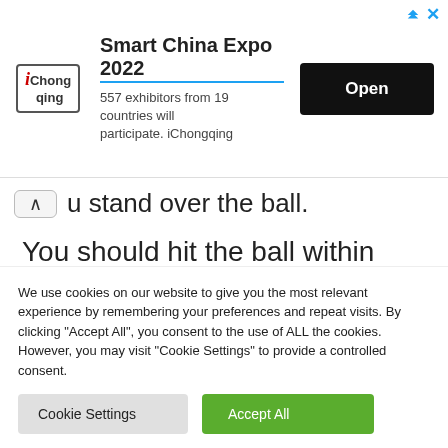[Figure (other): iChongqing advertisement banner for Smart China Expo 2022. Logo on left, title and subtitle in center, Open button on right.]
u stand over the ball.
You should hit the ball within thirty seconds of drying your hands to ensure you take the shot before your hands' sweat again and
We use cookies on our website to give you the most relevant experience by remembering your preferences and repeat visits. By clicking "Accept All", you consent to the use of ALL the cookies. However, you may visit "Cookie Settings" to provide a controlled consent.
Cookie Settings
Accept All